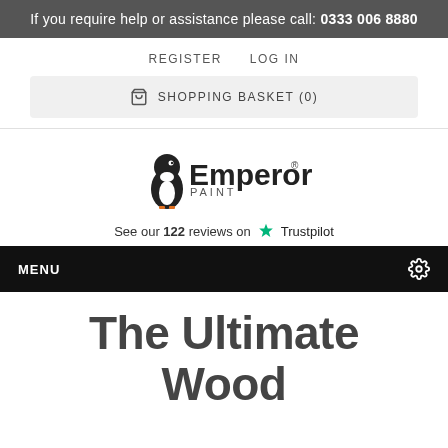If you require help or assistance please call: 0333 006 8880
REGISTER   LOG IN
SHOPPING BASKET (0)
[Figure (logo): Emperor Paint logo with penguin illustration and text 'Emperor PAINT']
See our 122 reviews on ★ Trustpilot
MENU ⚙
The Ultimate Wood